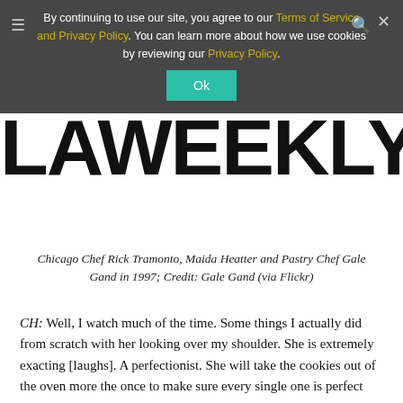By continuing to use our site, you agree to our Terms of Service and Privacy Policy. You can learn more about how we use cookies by reviewing our Privacy Policy.
[Figure (logo): LA Weekly logo in large bold black text]
Chicago Chef Rick Tramonto, Maida Heatter and Pastry Chef Gale Gand in 1997; Credit: Gale Gand (via Flickr)
CH: Well, I watch much of the time. Some things I actually did from scratch with her looking over my shoulder. She is extremely exacting [laughs]. A perfectionist. She will take the cookies out of the oven more the once to make sure every single one is perfect